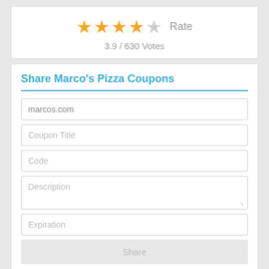[Figure (other): Star rating widget showing 4 filled gold stars and 1 empty gray star, with 'Rate' label]
3.9 / 630 Votes
Share Marco's Pizza Coupons
marcos.com
Coupon Title
Code
Description
Expiration
Share
Marco's Pizza Discount Stats
Total  22
Coupons  11
Deals  11